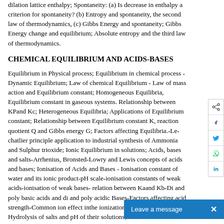dilation lattice enthalpy; Spontaneity: (a) Is decrease in enthalpy a criterion for spontaneity? (b) Entropy and spontaneity, the second law of thermodynamics, (c) Gibbs Energy and spontaneity; Gibbs Energy change and equilibrium; Absolute entropy and the third law of thermodynamics.
CHEMICAL EQUILIBRIUM AND ACIDS-BASES
Equilibrium in Physical process; Equilibrium in chemical process - Dynamic Equilibrium; Law of chemical Equilibrium - Law of mass action and Equilibrium constant; Homogeneous Equilibria, Equilibrium constant in gaseous systems. Relationship between KPand Kc; Heterogeneous Equilibria; Applications of Equilibrium constant; Relationship between Equilibrium constant K, reaction quotient Q and Gibbs energy G; Factors affecting Equilibria.-Le-chatlier principle application to industrial synthesis of Ammonia and Sulphur trioxide; Ionic Equilibrium in solutions; Acids, bases and salts-Arrhenius, Bronsted-Lowry and Lewis concepts of acids and bases; Ionisation of Acids and Bases - Ionisation constant of water and its ionic product-pH scale-ionisation constants of weak acids-ionisation of weak bases- relation between Kaand Kb-Di and poly basic acids and di and poly acidic Bases-Factors affecting acid strength-Common ion effect inthe ionization of acids and bases-Hydrolysis of salts and pH of their solutions; Buffer solutions-designing of buffer solution-Preparation of Acidic buffer; Solubility Equilibria of sparingly soluble salts. Solubility product constant Common ion effect on solubility of Ionic salts.
HYDROGEN AND ITS COMPOUNDS